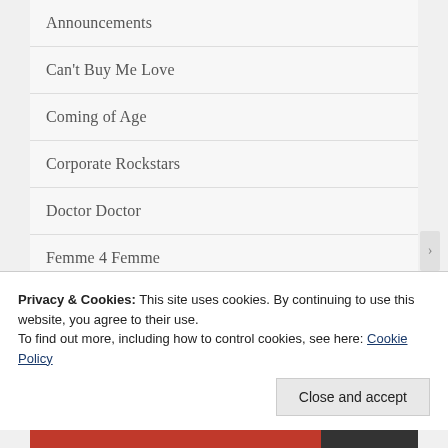Announcements
Can't Buy Me Love
Coming of Age
Corporate Rockstars
Doctor Doctor
Femme 4 Femme
Friends 2 Lovers
Privacy & Cookies: This site uses cookies. By continuing to use this website, you agree to their use.
To find out more, including how to control cookies, see here: Cookie Policy
Close and accept